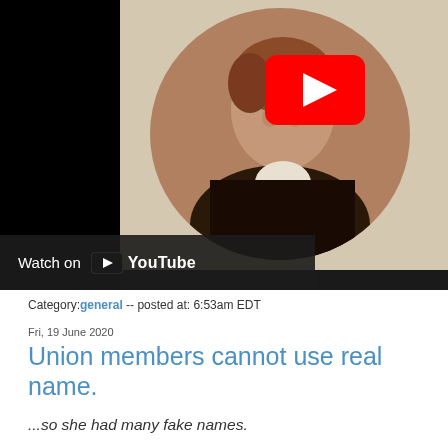[Figure (screenshot): YouTube video thumbnail showing a portrait painting of a person in historical attire with a YouTube play button overlay and 'Watch on YouTube' bar at the bottom left]
Category:general -- posted at: 6:53am EDT
Fri, 19 June 2020
Union members cannot use real name.
...so she had many fake names.
I know them all. If you can